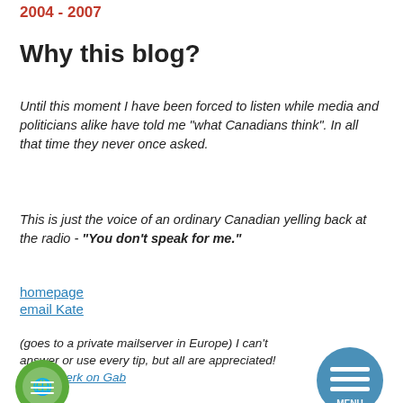2004 - 2007
Why this blog?
Until this moment I have been forced to listen while media and politicians alike have told me "what Canadians think". In all that time they never once asked.
This is just the voice of an ordinary Canadian yelling back at the radio - "You don't speak for me."
homepage
email Kate
(goes to a private mailserver in Europe) I can't answer or use every tip, but all are appreciated!
@Katewerk on Gab
[Figure (illustration): Blue circle menu button with three horizontal lines and MENU label]
[Figure (logo): Green circular logo at bottom left]